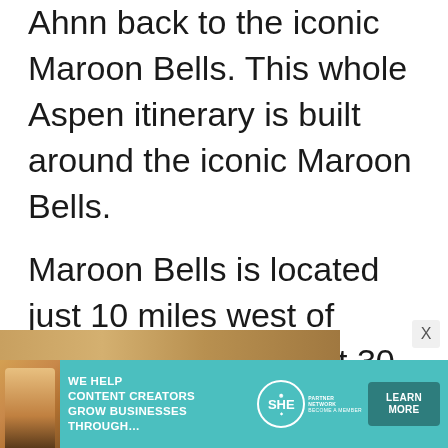Ahnn back to the iconic Maroon Bells. This whole Aspen itinerary is built around the iconic Maroon Bells.
Maroon Bells is located just 10 miles west of Aspen. It takes about 30 minutes to get from downtown Aspen to the parking lot of Maroon Bells.
[Figure (photo): Partial image strip visible at the bottom of the content area, showing warm tones suggesting an outdoor scene]
[Figure (infographic): SHE Partner Network advertisement banner with teal background, showing a woman with laptop, SHE logo with circle, text 'WE HELP CONTENT CREATORS GROW BUSINESSES THROUGH...' and a 'LEARN MORE' button]